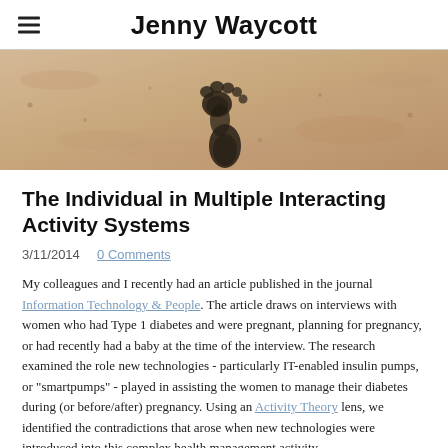Jenny Waycott
[Figure (photo): A sandy beach or desert surface with a dark footprint impression visible in the center of the image.]
The Individual in Multiple Interacting Activity Systems
3/11/2014  0 Comments
My colleagues and I recently had an article published in the journal Information Technology & People. The article draws on interviews with women who had Type 1 diabetes and were pregnant, planning for pregnancy, or had recently had a baby at the time of the interview. The research examined the role new technologies - particularly IT-enabled insulin pumps, or "smartpumps" - played in assisting the women to manage their diabetes during (or before/after) pregnancy. Using an Activity Theory lens, we identified the contradictions that arose when new technologies were introduced into this complex health management activity.